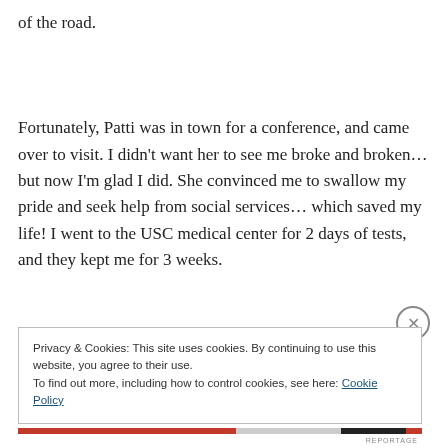of the road.
Fortunately, Patti was in town for a conference, and came over to visit. I didn't want her to see me broke and broken…but now I'm glad I did. She convinced me to swallow my pride and seek help from social services… which saved my life! I went to the USC medical center for 2 days of tests, and they kept me for 3 weeks.
Privacy & Cookies: This site uses cookies. By continuing to use this website, you agree to their use.
To find out more, including how to control cookies, see here: Cookie Policy